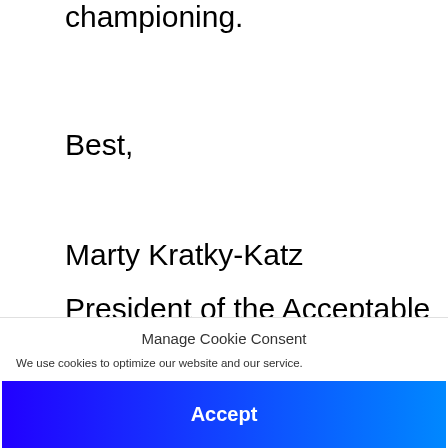championing.
Best,
Marty Kratky-Katz
President of the Acceptable Ads Committee
Manage Cookie Consent
We use cookies to optimize our website and our service.
Accept